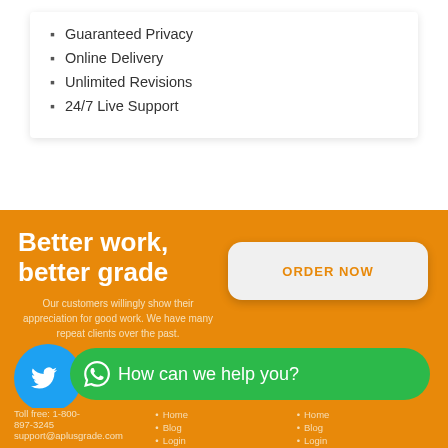Guaranteed Privacy
Online Delivery
Unlimited Revisions
24/7 Live Support
Better work, better grade
Our customers willingly show their appreciation for good work. We have many repeat clients over the past.
ORDER NOW
How can we help you?
Twitter
Toll free: 1-800-897-3245
support@aplusgrade.com
Home
Blog
Login
Home
Blog
Login